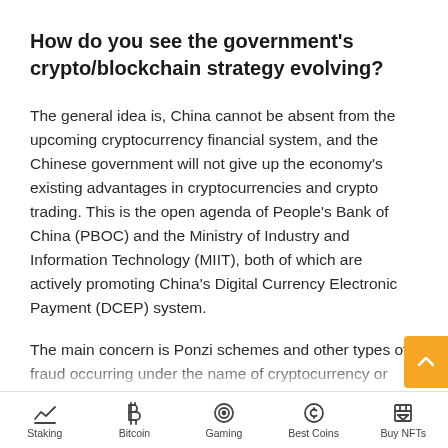How do you see the government's crypto/blockchain strategy evolving?
The general idea is, China cannot be absent from the upcoming cryptocurrency financial system, and the Chinese government will not give up the economy's existing advantages in cryptocurrencies and crypto trading. This is the open agenda of People's Bank of China (PBOC) and the Ministry of Industry and Information Technology (MIIT), both of which are actively promoting China's Digital Currency Electronic Payment (DCEP) system.
The main concern is Ponzi schemes and other types of fraud occurring under the name of cryptocurrency or blockchain. Thus, fraud-related exchanges are the target for crackdowns. Also note I am separating the term
Staking   Bitcoin   Gaming   Best Coins   Buy NFTs